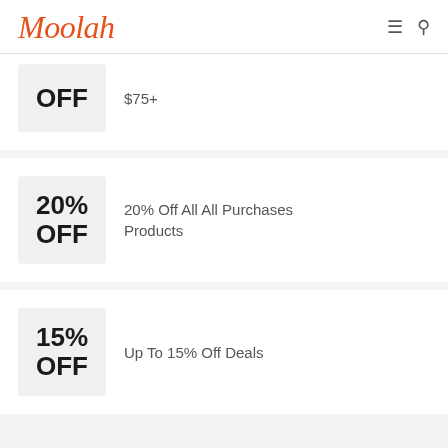Moolah
OFF $75+
20% OFF — 20% Off All All Purchases Products
15% OFF — Up To 15% Off Deals